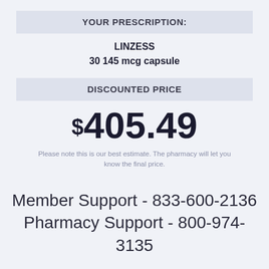YOUR PRESCRIPTION:
LINZESS
30 145 mcg capsule
DISCOUNTED PRICE
$405.49
Please note this is our best estimate. The pharmacy will let you know the final price.
Member Support - 833-600-2136
Pharmacy Support - 800-974-3135
This card is free. This is not